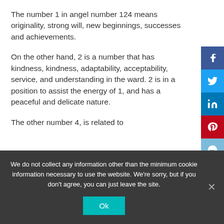The number 1 in angel number 124 means originality, strong will, new beginnings, successes and achievements.
On the other hand, 2 is a number that has kindness, kindness, adaptability, acceptability, service, and understanding in the ward. 2 is in a position to assist the energy of 1, and has a peaceful and delicate nature.
The other number 4, is related to
We do not collect any information other than the minimum cookie information necessary to use the website. We're sorry, but if you don't agree, you can just leave the site.